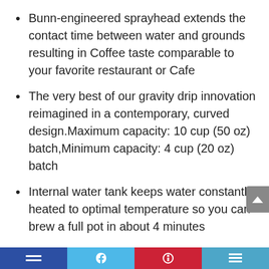Bunn-engineered sprayhead extends the contact time between water and grounds resulting in Coffee taste comparable to your favorite restaurant or Cafe
The very best of our gravity drip innovation reimagined in a contemporary, curved design.Maximum capacity: 10 cup (50 oz) batch,Minimum capacity: 4 cup (20 oz) batch
Internal water tank keeps water constantly heated to optimal temperature so you can brew a full pot in about 4 minutes